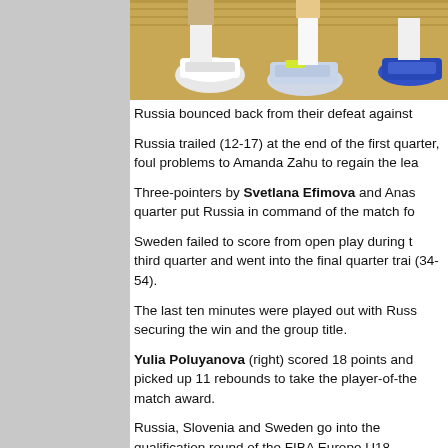[Figure (photo): Basketball players' legs and shoes on a court floor, seen from ground level]
Russia bounced back from their defeat against
Russia trailed (12-17) at the end of the first quarter, foul problems to Amanda Zahu to regain the lead.
Three-pointers by Svetlana Efimova and Anastasia in the quarter put Russia in command of the match for.
Sweden failed to score from open play during the third quarter and went into the final quarter trailing (34-54).
The last ten minutes were played out with Russia securing the win and the group title.
Yulia Poluyanova (right) scored 18 points and picked up 11 rebounds to take the player-of-the-match award.
Russia, Slovenia and Sweden go into the qualification round of the FIBA Europe U18 European Championship Women Division A with identical records.